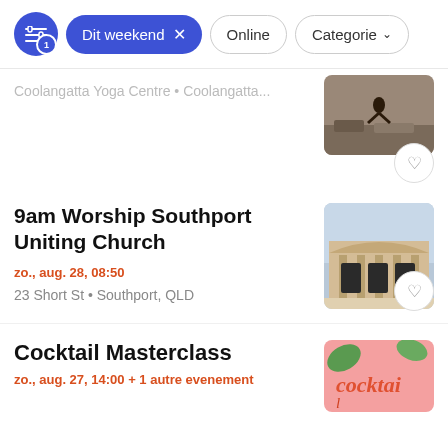Dit weekend × | Online | Categorie
Coolangatta Yoga Centre • Coolangatta...
9am Worship Southport Uniting Church
zo., aug. 28, 08:50
23 Short St • Southport, QLD
Cocktail Masterclass
zo., aug. 27, 14:00 + 1 autre evenement